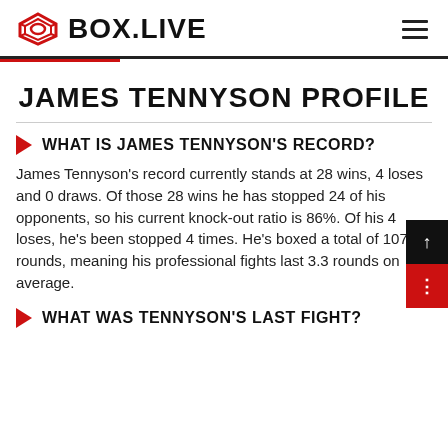BOX.LIVE
JAMES TENNYSON PROFILE
WHAT IS JAMES TENNYSON'S RECORD?
James Tennyson's record currently stands at 28 wins, 4 loses and 0 draws. Of those 28 wins he has stopped 24 of his opponents, so his current knock-out ratio is 86%. Of his 4 loses, he's been stopped 4 times. He's boxed a total of 107 rounds, meaning his professional fights last 3.3 rounds on average.
WHAT WAS TENNYSON'S LAST FIGHT?